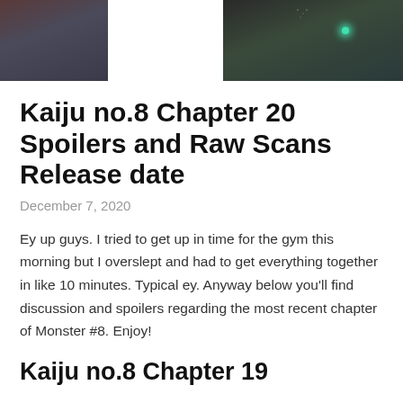[Figure (illustration): Banner image for Kaiju no.8 showing manga-style artwork with a large '8' numeral in the center, dark robotic/monster figures on the left, and a green-glowing creature on the right]
Kaiju no.8 Chapter 20 Spoilers and Raw Scans Release date
December 7, 2020
Ey up guys. I tried to get up in time for the gym this morning but I overslept and had to get everything together in like 10 minutes. Typical ey. Anyway below you'll find discussion and spoilers regarding the most recent chapter of Monster #8. Enjoy!
Kaiju no.8 Chapter 19